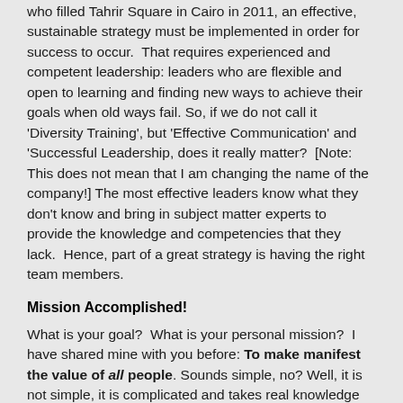who filled Tahrir Square in Cairo in 2011, an effective, sustainable strategy must be implemented in order for success to occur. That requires experienced and competent leadership: leaders who are flexible and open to learning and finding new ways to achieve their goals when old ways fail. So, if we do not call it 'Diversity Training', but 'Effective Communication' and 'Successful Leadership, does it really matter? [Note: This does not mean that I am changing the name of the company!] The most effective leaders know what they don't know and bring in subject matter experts to provide the knowledge and competencies that they lack. Hence, part of a great strategy is having the right team members.
Mission Accomplished!
What is your goal? What is your personal mission? I have shared mine with you before: To make manifest the value of all people. Sounds simple, no? Well, it is not simple, it is complicated and takes real knowledge and competency and